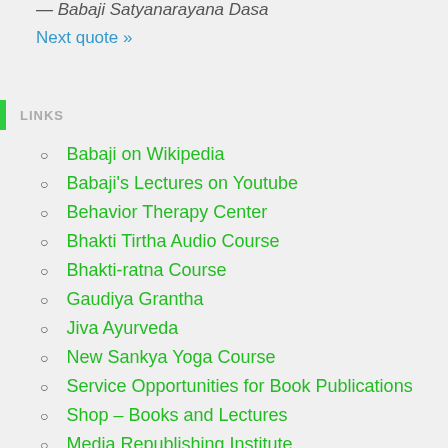— Babaji Satyanarayana Dasa
Next quote »
LINKS
Babaji on Wikipedia
Babaji's Lectures on Youtube
Behavior Therapy Center
Bhakti Tirtha Audio Course
Bhakti-ratna Course
Gaudiya Grantha
Jiva Ayurveda
New Sankya Yoga Course
Service Opportunities for Book Publications
Shop – Books and Lectures
Media Republishing Institute